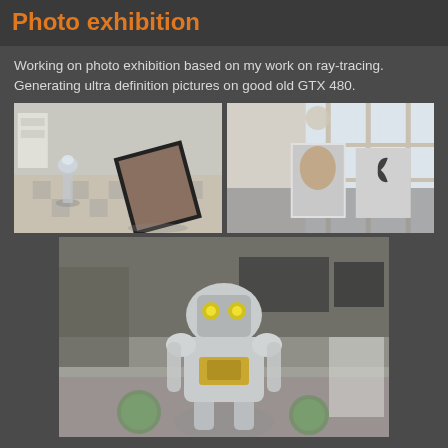Photo exhibition
Working on photo exhibition based on my work on ray-tracing. Generating ultra definition pictures on good old GTX 480.
[Figure (photo): Ray-traced render of an indoor room scene with a framed picture leaning on a tiled floor and a decorative glass chess piece figure, left image]
[Figure (photo): Ray-traced render showing a Steve Jobs biography book and Apple logo box on a reflective surface near a window, right image]
[Figure (photo): Ray-traced render of a chrome robot figurine with yellow eyes standing on a table in a kitchen/living room scene, bottom large image]